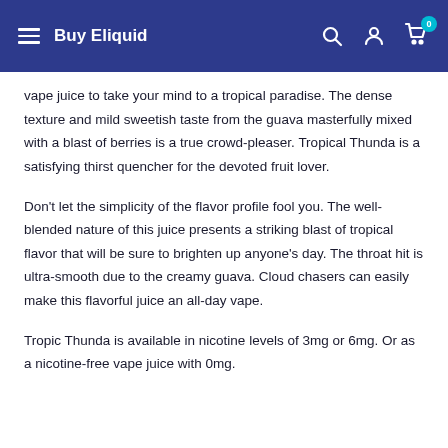Buy Eliquid
vape juice to take your mind to a tropical paradise. The dense texture and mild sweetish taste from the guava masterfully mixed with a blast of berries is a true crowd-pleaser. Tropical Thunda is a satisfying thirst quencher for the devoted fruit lover.
Don't let the simplicity of the flavor profile fool you. The well-blended nature of this juice presents a striking blast of tropical flavor that will be sure to brighten up anyone's day. The throat hit is ultra-smooth due to the creamy guava. Cloud chasers can easily make this flavorful juice an all-day vape.
Tropic Thunda is available in nicotine levels of 3mg or 6mg. Or as a nicotine-free vape juice with 0mg.